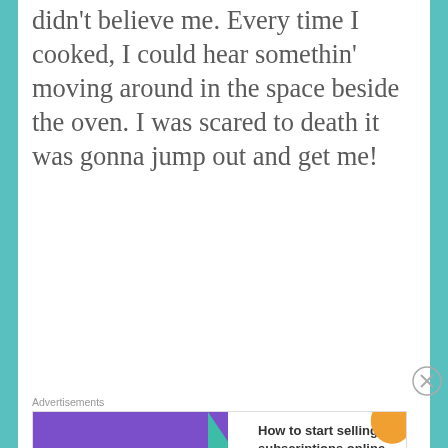didn't believe me. Every time I cooked, I could hear somethin' moving around in the space beside the oven. I was scared to death it was gonna jump out and get me!
[Figure (other): WooCommerce advertisement banner: purple left panel with WooCommerce logo, green arrow shape, right panel with orange and blue decorative shapes, text 'How to start selling subscriptions online']
That night, I was cookin' with one arm and holding the baby in the other. I heard somethin' movin' again, so I called
[Figure (other): P2 advertisement banner: dark P2 logo on left, bold text 'Getting your team on the same page is easy. And free.']